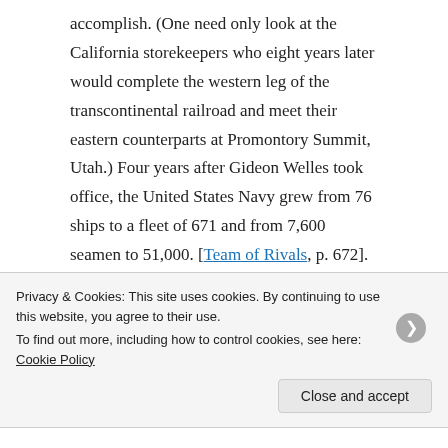accomplish. (One need only look at the California storekeepers who eight years later would complete the western leg of the transcontinental railroad and meet their eastern counterparts at Promontory Summit, Utah.) Four years after Gideon Welles took office, the United States Navy grew from 76 ships to a fleet of 671 and from 7,600 seamen to 51,000. [Team of Rivals, p. 672]. By all accounts, Welles ably served Lincoln and the country, helping to transform the navy from an insignificant flotilla to a fleet worthy of a world power.
Privacy & Cookies: This site uses cookies. By continuing to use this website, you agree to their use. To find out more, including how to control cookies, see here: Cookie Policy